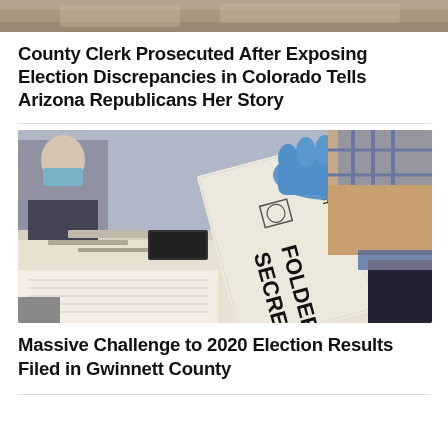[Figure (photo): Top cropped photo strip showing election-related scene]
County Clerk Prosecuted After Exposing Election Discrepancies in Colorado Tells Arizona Republicans Her Story
[Figure (photo): Person wearing blue gloves handling a SECRECY FOLDER ballot envelope at an election table, with another worker in background wearing a mask]
Massive Challenge to 2020 Election Results Filed in Gwinnett County